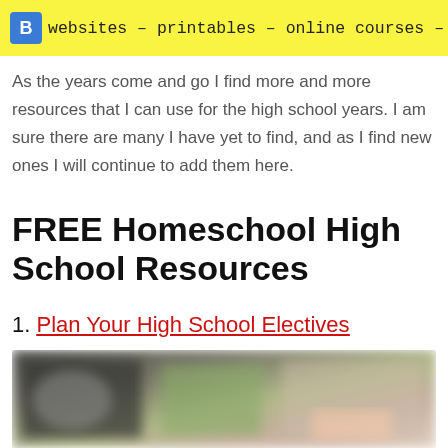[Figure (logo): Yellow banner with handwritten-style text reading 'websites – printables – online courses – more' with a small logo/icon on the left]
As the years come and go I find more and more resources that I can use for the high school years. I am sure there are many I have yet to find, and as I find new ones I will continue to add them here.
FREE Homeschool High School Resources
1. Plan Your High School Electives
[Figure (photo): Blurred/obscured image below the link for Plan Your High School Electives]